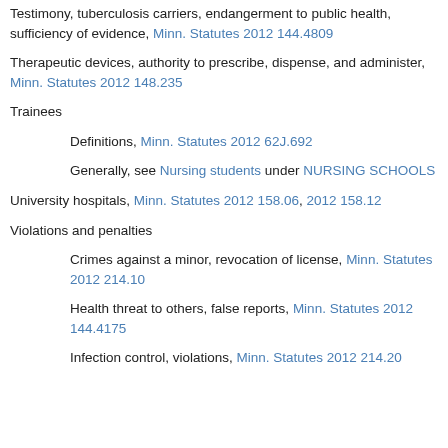Testimony, tuberculosis carriers, endangerment to public health, sufficiency of evidence, Minn. Statutes 2012 144.4809
Therapeutic devices, authority to prescribe, dispense, and administer, Minn. Statutes 2012 148.235
Trainees
Definitions, Minn. Statutes 2012 62J.692
Generally, see Nursing students under NURSING SCHOOLS
University hospitals, Minn. Statutes 2012 158.06, 2012 158.12
Violations and penalties
Crimes against a minor, revocation of license, Minn. Statutes 2012 214.10
Health threat to others, false reports, Minn. Statutes 2012 144.4175
Infection control, violations, Minn. Statutes 2012 214.20